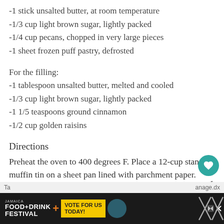-1 stick unsalted butter, at room temperature
-1/3 cup light brown sugar, lightly packed
-1/4 cup pecans, chopped in very large pieces
-1 sheet frozen puff pastry, defrosted
For the filling:
-1 tablespoon unsalted butter, melted and cooled
-1/3 cup light brown sugar, lightly packed
-1 1/5 teaspoons ground cinnamon
-1/2 cup golden raisins
Directions
Preheat the oven to 400 degrees F. Place a 12-cup standard muffin tin on a sheet pan lined with parchment paper.
[Figure (screenshot): Advertisement banner: Jamaica Food+Drink Festival with Vote For Us Today button and logos]
Ta ... anage.dx